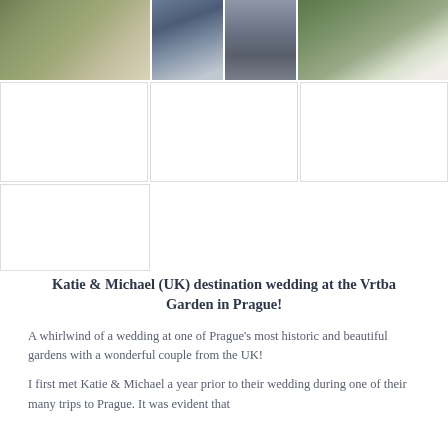[Figure (photo): Wedding photo grid: top row shows three photos – a scenic garden with green hedges/topiary, a groom in navy suit facing camera, and a groom from behind walking with a woman in white dress near hedges. Second row shows three white placeholder/loading image boxes. Third row shows one white placeholder box on the left side.]
Katie & Michael (UK) destination wedding at the Vrtba Garden in Prague!
A whirlwind of a wedding at one of Prague's most historic and beautiful gardens with a wonderful couple from the UK!
I first met Katie & Michael a year prior to their wedding during one of their many trips to Prague. It was evident that